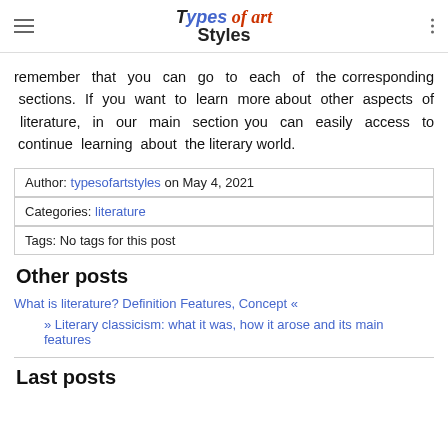Types of art Styles
remember that you can go to each of the corresponding sections. If you want to learn more about other aspects of literature, in our main section you can easily access to continue learning about the literary world.
| Author: typesofartstyles on May 4, 2021 |
| Categories: literature |
| Tags: No tags for this post |
Other posts
What is literature? Definition Features, Concept «
» Literary classicism: what it was, how it arose and its main features
Last posts